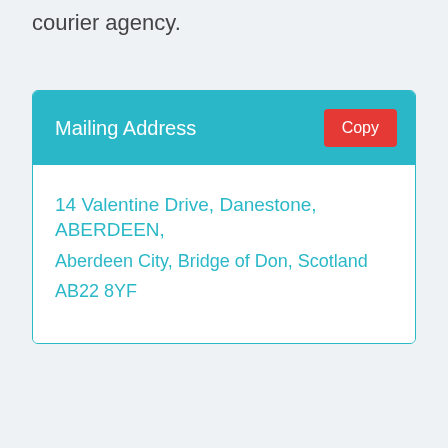courier agency.
Mailing Address
14 Valentine Drive, Danestone, ABERDEEN,
Aberdeen City, Bridge of Don, Scotland
AB22 8YF